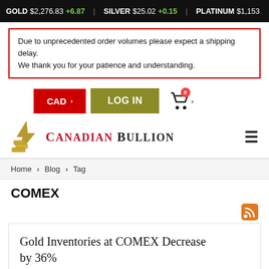GOLD $2,276.83 +6.87 | SILVER $25.02 +0.15 | PLATINUM $1,153
Due to unprecedented order volumes please expect a shipping delay. We thank you for your patience and understanding.
[Figure (screenshot): Navigation buttons: CAD dropdown (red), LOG IN (olive/gold), cart icon with 0 badge and dropdown arrow]
[Figure (logo): Canadian Bullion logo: golden lightning bolt and gold bars icon, text CANADIAN BULLION in red/black, hamburger menu icon]
Home > Blog > Tag
COMEX
[Figure (logo): RSS feed icon (orange)]
Gold Inventories at COMEX Decrease by 36%